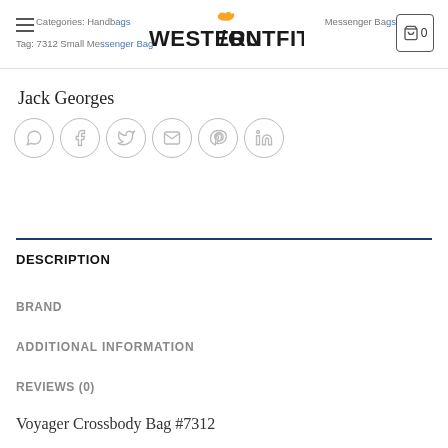Categories: Handbags, Messenger Bags  Tag: 7312 Small Messenger Bag
[Figure (logo): Western Outfitters logo with flame accent over letter O]
Jack Georges
[Figure (infographic): Social sharing icons: WhatsApp, Facebook, Twitter, Email, Pinterest, LinkedIn]
DESCRIPTION
BRAND
ADDITIONAL INFORMATION
REVIEWS (0)
Voyager Crossbody Bag #7312